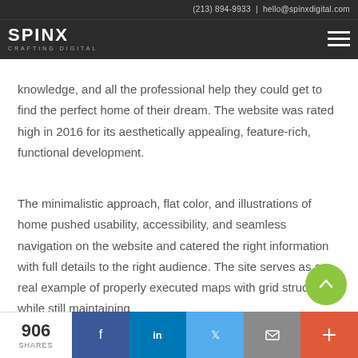(213) 894-9933 | hello@spinxdigital.com
[Figure (logo): SPINX Digital logo with text CRAFTING DIGITAL and hamburger menu icon on dark background]
knowledge, and all the professional help they could get to find the perfect home of their dream. The website was rated high in 2016 for its aesthetically appealing, feature-rich, functional development.
The minimalistic approach, flat color, and illustrations of home pushed usability, accessibility, and seamless navigation on the website and catered the right information with full details to the right audience. The site serves as a real example of properly executed maps with grid structure while still maintaining
906 SHARES